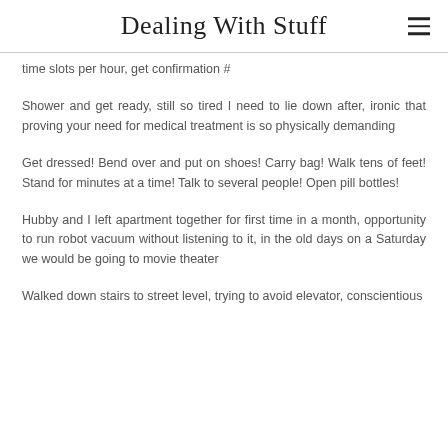Dealing With Stuff
time slots per hour, get confirmation #
Shower and get ready, still so tired I need to lie down after, ironic that proving your need for medical treatment is so physically demanding
Get dressed! Bend over and put on shoes! Carry bag! Walk tens of feet! Stand for minutes at a time! Talk to several people! Open pill bottles!
Hubby and I left apartment together for first time in a month, opportunity to run robot vacuum without listening to it, in the old days on a Saturday we would be going to movie theater
Walked down stairs to street level, trying to avoid elevator, conscientious